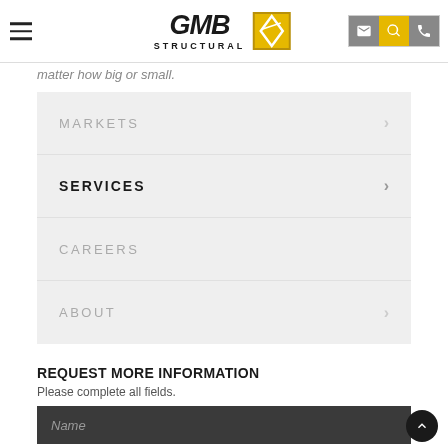GMB Structural - navigation header with hamburger menu and icons
matter how big or small.
MARKETS
SERVICES
CAREERS
ABOUT
REQUEST MORE INFORMATION
Please complete all fields.
Name